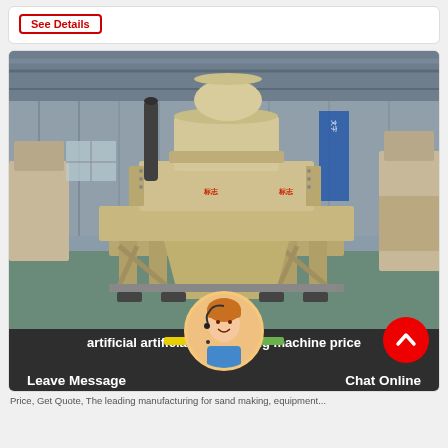See Details
[Figure (photo): Industrial sand making machine (VSI crusher) in a factory hall, beige/cream colored heavy machinery on a metal frame, with conveyor and other equipment visible in background.]
artificial artificial sand making machine price india
Leave Message   Chat Online
Price, Get Quote, The leading manufacturing for sand making, equipment...